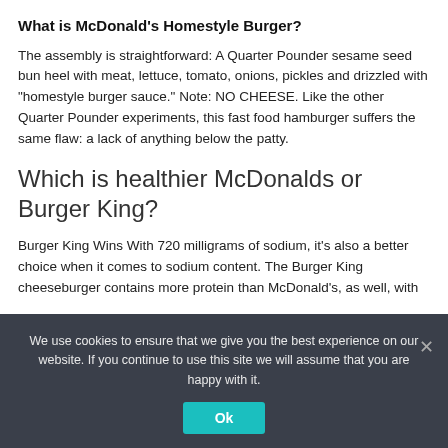What is McDonald’s Homestyle Burger?
The assembly is straightforward: A Quarter Pounder sesame seed bun heel with meat, lettuce, tomato, onions, pickles and drizzled with “homestyle burger sauce.” Note: NO CHEESE. Like the other Quarter Pounder experiments, this fast food hamburger suffers the same flaw: a lack of anything below the patty.
Which is healthier McDonalds or Burger King?
Burger King Wins With 720 milligrams of sodium, it’s also a better choice when it comes to sodium content. The Burger King cheeseburger contains more protein than McDonald’s, as well, with
We use cookies to ensure that we give you the best experience on our website. If you continue to use this site we will assume that you are happy with it.
Ok
What is the healthier option McDonald’s or Burger King?